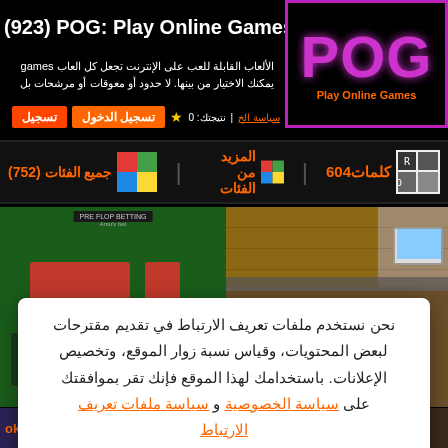(923) POG: Play Online Games
[Figure (logo): POG logo with purple border and Play Online Games subtitle in orange]
الألعاب القابلة للعب على الإنترنت تجعل كل العاب games يمكنك الاختيار من بينها. لا حدود أو معوقات أو مرشحات بل
نتيجتك: 0 | سياسة الخ...  ★  تسجيل الدخول  تسجيل
[Figure (screenshot): Navigation bar with category icons: كلمات604, المزيد من الفئات, جميع الفئات (752)]
[Figure (screenshot): Poker game screenshot on left and platformer/castle game on right]
نحن نستخدم ملفات تعريف الارتباط في تقديم مقترحات لبعض المحتويات، وقياس نسبة زوار الموقع، وتخصيص الإعلانات. باستخدامك لهذا الموقع فإنك تقر بموافقتك على سياسة الخصوصية و سياسة ملفات تعريف الارتباط
فهمت